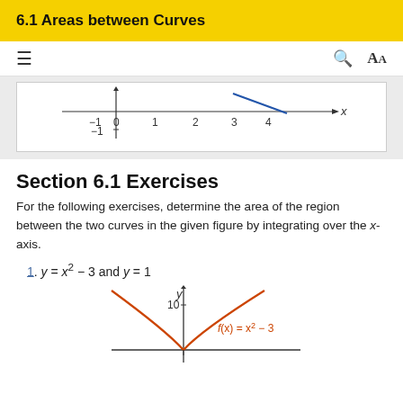6.1 Areas between Curves
[Figure (continuous-plot): Partial coordinate axes showing x-axis from -1 to 4 with label x, y-axis showing -1, with a blue diagonal line going down-right]
Section 6.1 Exercises
For the following exercises, determine the area of the region between the two curves in the given figure by integrating over the x-axis.
1. y = x² − 3 and y = 1
[Figure (continuous-plot): Coordinate graph showing f(x) = x² − 3 as orange parabola, y-axis labeled y with value 10 marked, x-axis shown, function label in orange]